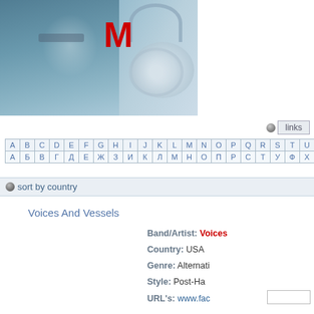[Figure (photo): Music website banner with woman wearing sunglasses listening to music, headphones device on right, red M logo in center]
links
| A | B | C | D | E | F | G | H | I | J | K | L | M | N | O | P | Q | R | S | T | U | V | W | X | Y | Z | 0...9 |
| --- | --- | --- | --- | --- | --- | --- | --- | --- | --- | --- | --- | --- | --- | --- | --- | --- | --- | --- | --- | --- | --- | --- | --- | --- | --- | --- |
| А | Б | В | Г | Д | Е | Ж | З | И | К | Л | М | Н | О | П | Р | С | Т | У | Ф | Х | Ц | Ч | Ш | Э | Ю | Я |
sort by country
Voices And Vessels
Band/Artist: Voices And Vessels
Country: USA
Genre: Alternative
Style: Post-Hardcore
URL's: www.facebook...